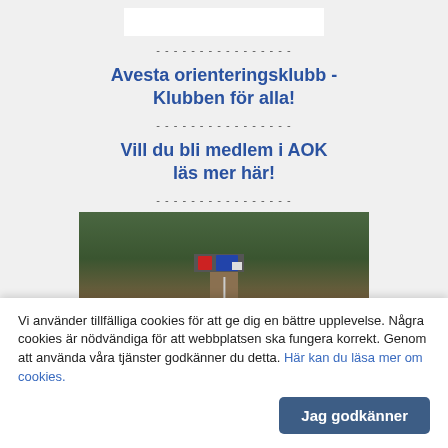Avesta orienteringsklubb - Klubben för alla!
Vill du bli medlem i AOK läs mer här!
[Figure (photo): Photo of an orienteering control post with electronic punching device (red and blue unit) mounted on a wooden post in a forest setting]
Vi använder tillfälliga cookies för att ge dig en bättre upplevelse. Några cookies är nödvändiga för att webbplatsen ska fungera korrekt. Genom att använda våra tjänster godkänner du detta. Här kan du läsa mer om cookies.